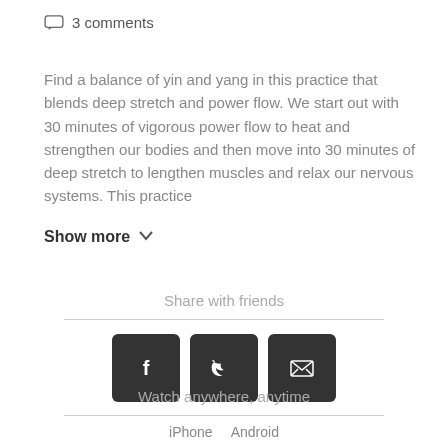3 comments
Find a balance of yin and yang in this practice that blends deep stretch and power flow. We start out with 30 minutes of vigorous power flow to heat and strengthen our bodies and then move into 30 minutes of deep stretch to lengthen muscles and relax our nervous systems. This practice
Show more
Share with friends
[Figure (infographic): Three dark square buttons with social sharing icons: Facebook (f), Twitter (bird), and email (envelope)]
Watch anywhere, anytime
iPhone   Android